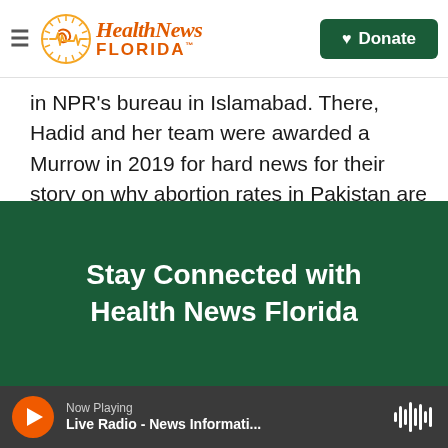Health News Florida — Donate
in NPR's bureau in Islamabad. There, Hadid and her team were awarded a Murrow in 2019 for hard news for their story on why abortion rates in Pakistan are among the highest in the world.
See stories by Diaa Hadid
Stay Connected with Health News Florida
Now Playing — Live Radio - News Informati...